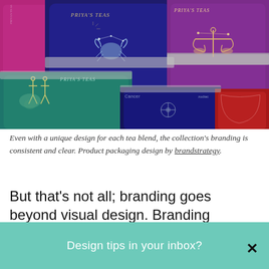[Figure (photo): Overhead photo of multiple decorative tea tin canisters with zodiac/astrology themed labels in colors: navy blue with Cancer crab illustration, purple/magenta with Libra scales illustration, teal/green with Gemini twins illustration, and red tin partially visible. Brand name 'Priya's Teas' visible on tins.]
Even with a unique design for each tea blend, the collection's branding is consistent and clear. Product packaging design by brandstrategy.
But that's not all; branding goes beyond visual design. Branding touches every interaction the customer has with your
Design tips in your inbox?